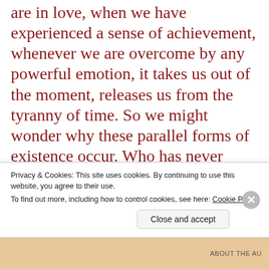are in love, when we have experienced a sense of achievement, whenever we are overcome by any powerful emotion, it takes us out of the moment, releases us from the tyranny of time. So we might wonder why these parallel forms of existence occur. Who has never wished that a moment could go on for ever? Who has never prayed for a seemingly endless state of discomfort or pain or sorrow to pass? In which realm do we live our true, authentic, fully human life? So many poets down the ages have observed the innocence of nature, the
Privacy & Cookies: This site uses cookies. By continuing to use this website, you agree to their use.
To find out more, including how to control cookies, see here: Cookie Policy
Close and accept